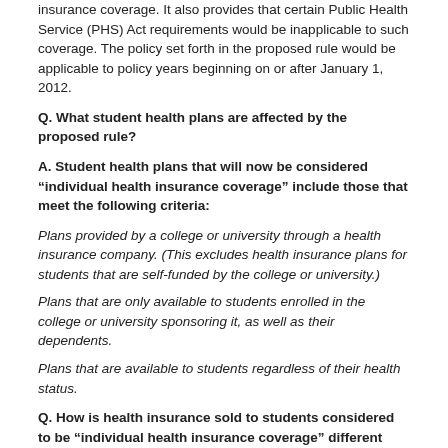insurance coverage. It also provides that certain Public Health Service (PHS) Act requirements would be inapplicable to such coverage. The policy set forth in the proposed rule would be applicable to policy years beginning on or after January 1, 2012.
Q. What student health plans are affected by the proposed rule?
A. Student health plans that will now be considered “individual health insurance coverage” include those that meet the following criteria:
Plans provided by a college or university through a health insurance company. (This excludes health insurance plans for students that are self-funded by the college or university.)
Plans that are only available to students enrolled in the college or university sponsoring it, as well as their dependents.
Plans that are available to students regardless of their health status.
Q. How is health insurance sold to students considered to be “individual health insurance coverage” different than “short-term limited insurance”? Do PHS Act requirements apply?
A. The proposed regulation clarifies the circumstances under which health insurance sold to students is considered individual health insurance coverage, as opposed to short-term limited